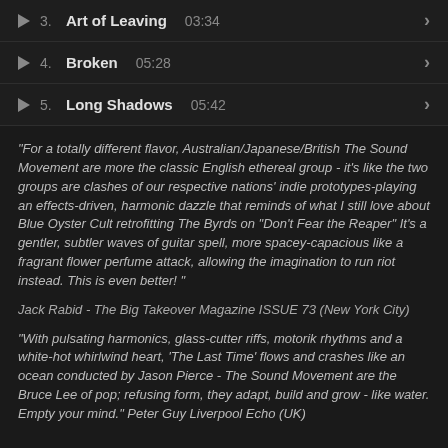3.  Art of Leaving  03:34
4.  Broken  05:28
5.  Long Shadows  05:42
"For a totally different flavor, Australian/Japanese/British The Sound Movement are more the classic English ethereal group - it's like the two groups are clashes of our respective nations' indie prototypes-playing an effects-driven, harmonic dazzle that reminds of what I still love about Blue Oyster Cult retrofitting The Byrds on "Don't Fear the Reaper" It's a gentler, subtler waves of guitar spell, more spacey-capacious like a fragrant flower perfume attack, allowing the imagination to run riot instead. This is even better! "
Jack Rabid - The Big Takeover Magazine ISSUE 73 (New York City)
"With pulsating harmonics, glass-cutter riffs, motorik rhythms and a white-hot whirlwind heart, 'The Last Time' flows and crashes like an ocean conducted by Jason Pierce - The Sound Movement are the Bruce Lee of pop; refusing form, they adapt, build and grow - like water. Empty your mind." Peter Guy Liverpool Echo (UK)